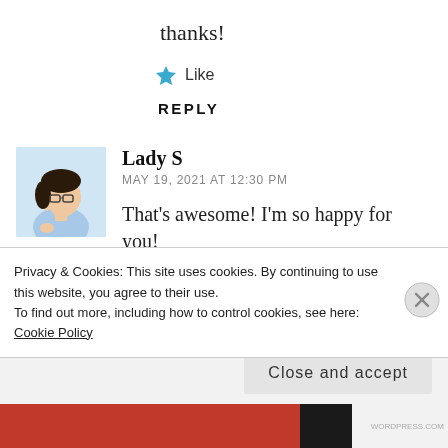thanks!
★ Like
REPLY
[Figure (illustration): Avatar illustration of Lady S, a person with short dark hair, glasses, wearing a light blue outfit, sitting thoughtfully.]
Lady S
MAY 19, 2021 AT 12:30 PM
That's awesome! I'm so happy for you!
*confetti toss*
Privacy & Cookies: This site uses cookies. By continuing to use this website, you agree to their use.
To find out more, including how to control cookies, see here: Cookie Policy
Close and accept